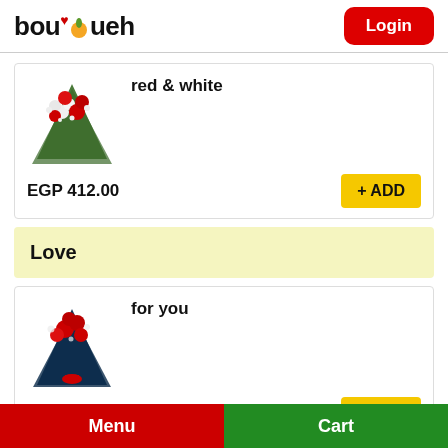bouqueh | Login
[Figure (photo): Red and white flower bouquet wrapped in green paper]
red & white
EGP 412.00
Love
[Figure (photo): Red flower bouquet wrapped in dark blue/green paper]
for you
EGP 375.00
Menu | Cart